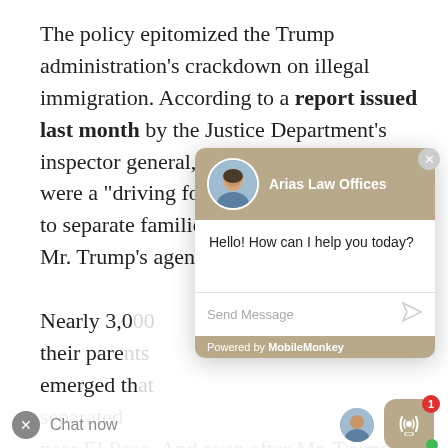The policy epitomized the Trump administration's crackdown on illegal immigration. According to a report issued last month by the Justice Department's inspector general, top department officials were a "driving force" behind the decision to separate families in their quest to fulfill Mr. Trump's agenda.
Nearly 3,0[00 children were separated from their par[ents]... emerged th[at]... separated [at a facility] near El Paso. And even after Mr. Trump officially rescinded the policy, border [agents] o[ver] more than 1,000 children from their families,
[Figure (screenshot): Chat widget popup for Arias Law Offices showing a man's photo avatar, header 'Arias Law Offices', message 'Hello! How can I help you today?', Send Message input field, and 'Powered by MobileMonkey' footer. A close button (X) is in the top right. Below is a 'Chat now' bar with a broadcast icon badge showing '1' and a green dot.]